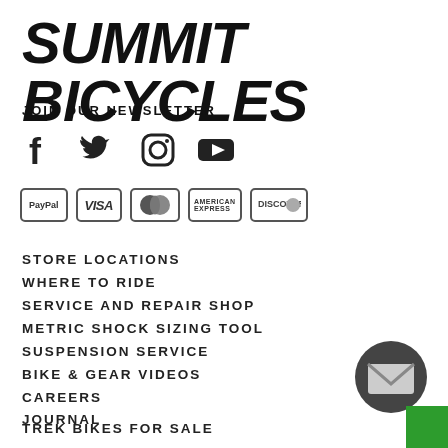SUMMIT BICYCLES
JOIN OUR NEWSLETTER
[Figure (infographic): Social media icons: Facebook, Twitter, Instagram, YouTube]
[Figure (infographic): Payment method badges: PayPal, Visa, Mastercard, American Express, Discover]
STORE LOCATIONS
WHERE TO RIDE
SERVICE AND REPAIR SHOP
METRIC SHOCK SIZING TOOL
SUSPENSION SERVICE
BIKE & GEAR VIDEOS
CAREERS
JOURNAL
TREK BIKES FOR SALE